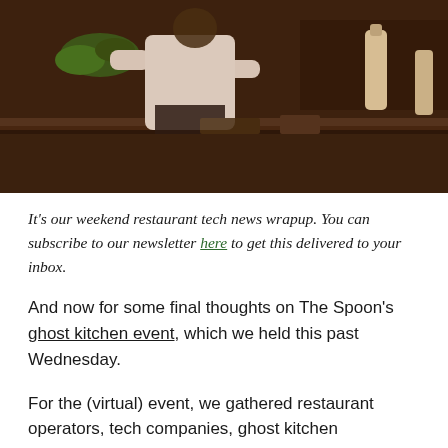[Figure (photo): A dark restaurant kitchen scene showing a chef in white clothing working at a counter, with kitchen equipment, bottles, and herbs visible in the background with warm amber lighting.]
It's our weekend restaurant tech news wrapup. You can subscribe to our newsletter here to get this delivered to your inbox.
And now for some final thoughts on The Spoon's ghost kitchen event, which we held this past Wednesday.
For the (virtual) event, we gathered restaurant operators, tech companies, ghost kitchen infrastructure providers, and thought leaders to…